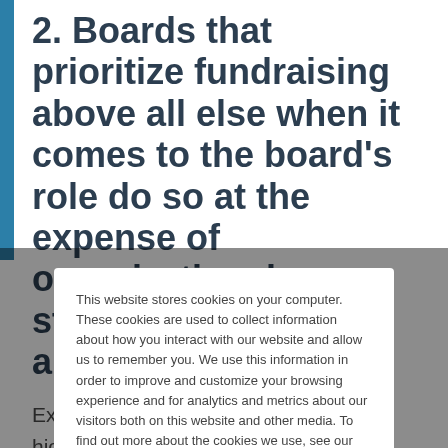2. Boards that prioritize fundraising above all else when it comes to the board's role do so at the expense of organizational strategy, relevance, and impact.
Executives that reported placing the highest level of importance on fundraising have lower ratings in several key areas of performance as compared to those that do not place such high
This website stores cookies on your computer. These cookies are used to collect information about how you interact with our website and allow us to remember you. We use this information in order to improve and customize your browsing experience and for analytics and metrics about our visitors both on this website and other media. To find out more about the cookies we use, see our Privacy Policy.